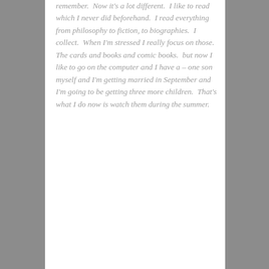remember.  Now it's a lot different.  I like to read which I never did beforehand.  I read everything from philosophy to fiction, to biographies.  I collect.  When I'm stressed I really focus on those.  The cards and books and comic books.  but now I like to go on the computer and I have a – one son myself and I'm getting married in September and I'm going to be getting three more children.  That's what I do now is watch them during the summer.